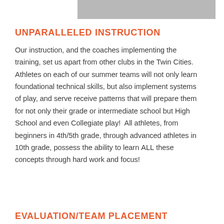[Figure (other): Grey decorative bar at top right of page]
UNPARALLELED INSTRUCTION
Our instruction, and the coaches implementing the training, set us apart from other clubs in the Twin Cities. Athletes on each of our summer teams will not only learn foundational technical skills, but also implement systems of play, and serve receive patterns that will prepare them for not only their grade or intermediate school but High School and even Collegiate play!  All athletes, from beginners in 4th/5th grade, through advanced athletes in 10th grade, possess the ability to learn ALL these concepts through hard work and focus!
EVALUATION/TEAM PLACEMENT